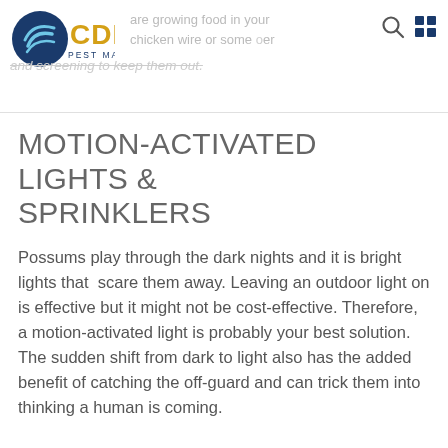CDI PEST MANAGEMENT — are growing food in your chicken wire or some... and screening to keep them out.
MOTION-ACTIVATED LIGHTS & SPRINKLERS
Possums play through the dark nights and it is bright lights that  scare them away. Leaving an outdoor light on is effective but it might not be cost-effective. Therefore, a motion-activated light is probably your best solution. The sudden shift from dark to light also has the added benefit of catching the off-guard and can trick them into thinking a human is coming.